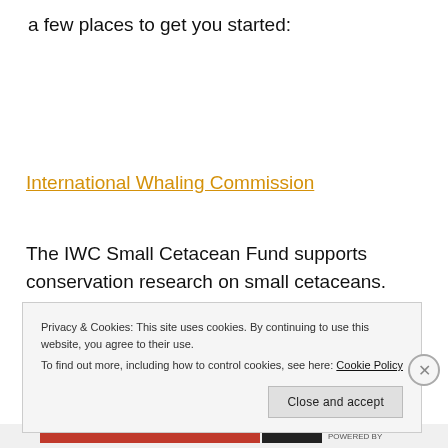a few places to get you started:
International Whaling Commission
The IWC Small Cetacean Fund supports conservation research on small cetaceans. There
Privacy & Cookies: This site uses cookies. By continuing to use this website, you agree to their use.
To find out more, including how to control cookies, see here: Cookie Policy
Close and accept